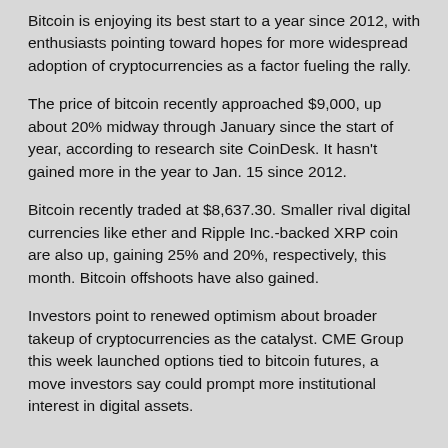Bitcoin is enjoying its best start to a year since 2012, with enthusiasts pointing toward hopes for more widespread adoption of cryptocurrencies as a factor fueling the rally.
The price of bitcoin recently approached $9,000, up about 20% midway through January since the start of year, according to research site CoinDesk. It hasn't gained more in the year to Jan. 15 since 2012.
Bitcoin recently traded at $8,637.30. Smaller rival digital currencies like ether and Ripple Inc.-backed XRP coin are also up, gaining 25% and 20%, respectively, this month. Bitcoin offshoots have also gained.
Investors point to renewed optimism about broader takeup of cryptocurrencies as the catalyst. CME Group this week launched options tied to bitcoin futures, a move investors say could prompt more institutional interest in digital assets.